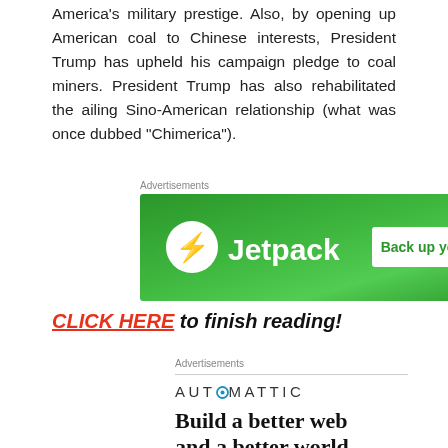America's military prestige. Also, by opening up American coal to Chinese interests, President Trump has upheld his campaign pledge to coal miners. President Trump has also rehabilitated the ailing Sino-American relationship (what was once dubbed “Chimerica”).
[Figure (infographic): Jetpack advertisement banner with green background showing Jetpack logo and 'Back up your site' button]
REPORT THIS AD
CLICK HERE to finish reading!
[Figure (infographic): Automattic advertisement with logo, divider line, and text 'Build a better web and a better world']